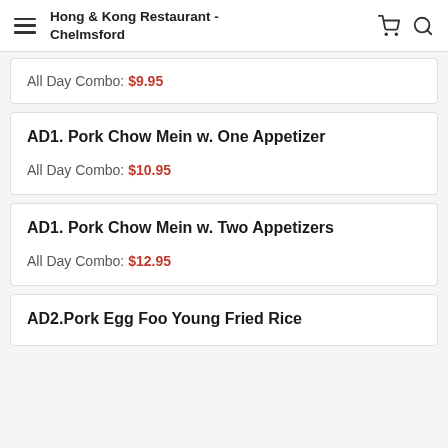Hong & Kong Restaurant - Chelmsford
All Day Combo: $9.95
AD1. Pork Chow Mein w. One Appetizer
All Day Combo: $10.95
AD1. Pork Chow Mein w. Two Appetizers
All Day Combo: $12.95
AD2.Pork Egg Foo Young Fried Rice